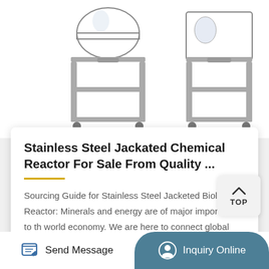[Figure (photo): Two stainless steel jacketed chemical reactors on wheels/stands, partially cropped at top of the page]
Stainless Steel Jackated Chemical Reactor For Sale From Quality ...
Sourcing Guide for Stainless Steel Jacketed Biological Reactor: Minerals and energy are of major importance to the world economy. We are here to connect global buyers with reputab
[Figure (photo): Curved pipe or tube fitting, partially visible at lower portion of page]
Send Message
Inquiry Online